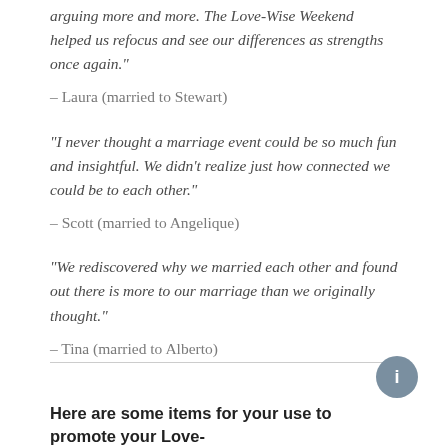“arguing more and more. The Love-Wise Weekend helped us refocus and see our differences as strengths once again.”
– Laura (married to Stewart)
“I never thought a marriage event could be so much fun and insightful. We didn’t realize just how connected we could be to each other.”
– Scott (married to Angelique)
“We rediscovered why we married each other and found out there is more to our marriage than we originally thought.”
– Tina (married to Alberto)
Here are some items for your use to promote your Love-